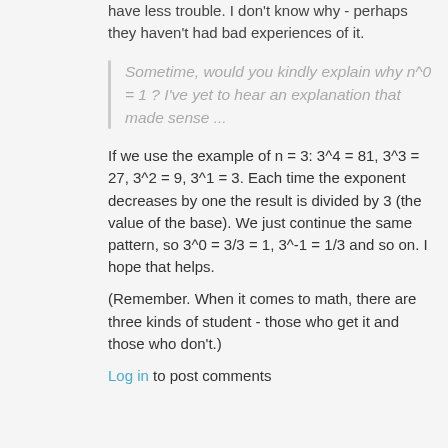have less trouble. I don't know why - perhaps they haven't had bad experiences of it.
Sometime, would you kindly explain why n^0 = 1 ? I've yet to hear an explanation that made sense ...
If we use the example of n = 3: 3^4 = 81, 3^3 = 27, 3^2 = 9, 3^1 = 3. Each time the exponent decreases by one the result is divided by 3 (the value of the base). We just continue the same pattern, so 3^0 = 3/3 = 1, 3^-1 = 1/3 and so on. I hope that helps.
(Remember. When it comes to math, there are three kinds of student - those who get it and those who don't.)
Log in to post comments